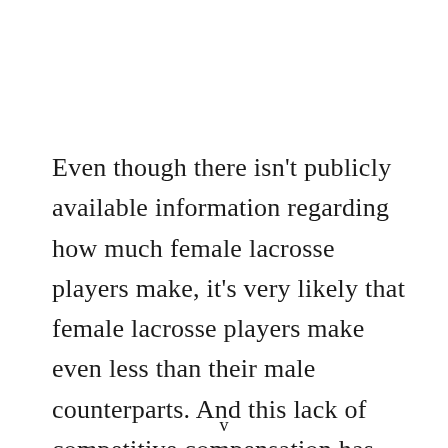Even though there isn't publicly available information regarding how much female lacrosse players make, it's very likely that female lacrosse players make even less than their male counterparts. And this lack of competitive compensation has and will continue to become a focal point of discussion among professional lacrosse
v